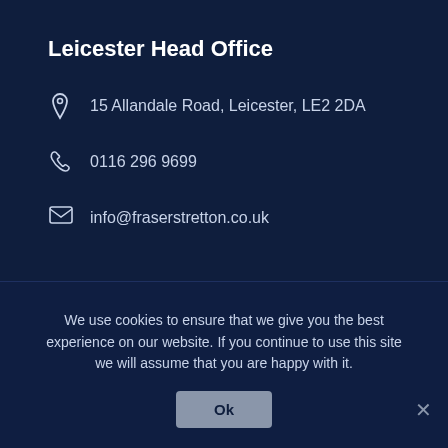Leicester Head Office
15 Allandale Road, Leicester, LE2 2DA
0116 296 9699
info@fraserstretton.co.uk
We use cookies to ensure that we give you the best experience on our website. If you continue to use this site we will assume that you are happy with it.
Ok